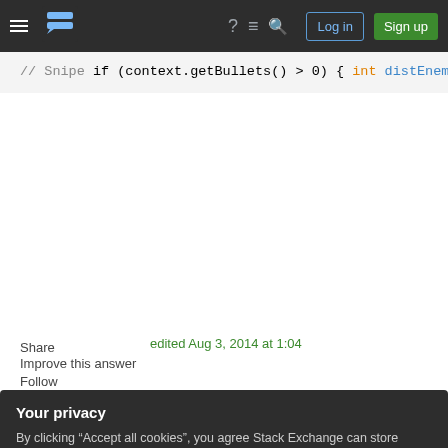Stack Exchange navigation bar with hamburger menu, logo, help, chat, search icons, Log in and Sign up buttons
[Figure (screenshot): Code snippet showing Java/similar language code: // Snipe, if (context.getBullets() > 0) {, int distEnemy = 1;, PlayerId targetEnemy = null;, for (int x = CENTRE_OF_VISION -, for (int y = CENTRE_OF_VISI, PlayerId player = field, if (player != null && !, int dist = getDista, if (!player.getName]
Share
edited Aug 3, 2014 at 1:04
Improve this answer
Follow
Your privacy
By clicking “Accept all cookies”, you agree Stack Exchange can store cookies on your device and disclose information in accordance with our Cookie Policy.
Accept all cookies
Customize settings
entries might be able to gain ground by adding